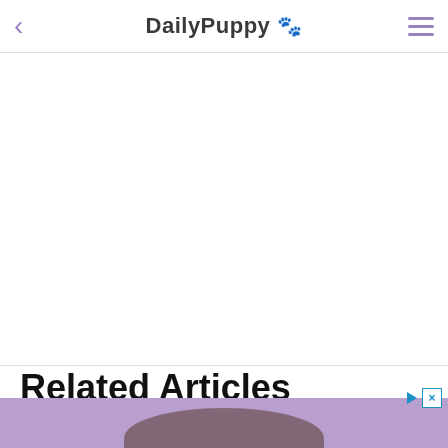DailyPuppy 🐾
Related Articles
[Figure (photo): Bottom advertisement banner with purple background showing a partial animal photo (appears to be a cat or dog), with play and close controls in upper right corner.]